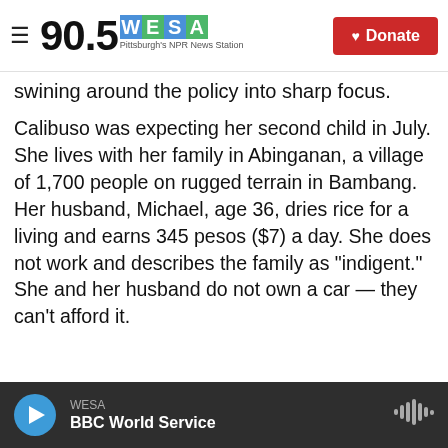90.5 WESA Pittsburgh's NPR News Station | Donate
swining around the policy into sharp focus.
Calibuso was expecting her second child in July. She lives with her family in Abinganan, a village of 1,700 people on rugged terrain in Bambang. Her husband, Michael, age 36, dries rice for a living and earns 345 pesos ($7) a day. She does not work and describes the family as "indigent." She and her husband do not own a car — they can't afford it.
[Figure (photo): Two children photographed indoors near a window with an orange curtain in the background]
WESA | BBC World Service